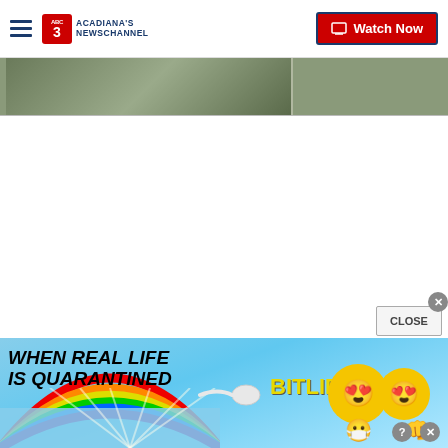Acadiana's Newschannel — Watch Now
[Figure (screenshot): Partial thumbnail image visible at top of page content area]
[Figure (screenshot): BitLife advertisement banner: 'When Real Life Is Quarantined' with rainbow, sperm emoji, BitLife logo, and cartoon emoji characters]